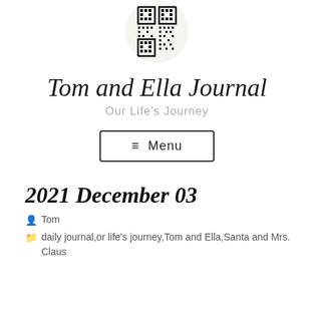[Figure (logo): QR code displayed inside a circular frame at the top center of the page]
Tom and Ella Journal
Our Life's Journey
≡ Menu
2021 December 03
Tom
daily journal,or life's journey,Tom and Ella,Santa and Mrs. Claus